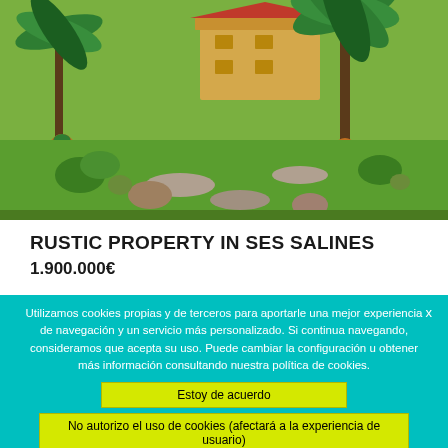[Figure (photo): Outdoor garden/landscaped area of a rustic property in Ses Salines, with palm trees, green lawn, stones, and a yellow building visible in the background]
RUSTIC PROPERTY IN SES SALINES
1.900.000€
Utilizamos cookies propias y de terceros para aportarle una mejor experiencia de navegación y un servicio más personalizado. Si continua navegando, consideramos que acepta su uso. Puede cambiar la configuración u obtener más información consultando nuestra política de cookies.
Estoy de acuerdo
No autorizo el uso de cookies (afectará a la experiencia de usuario)
Política de privacidad